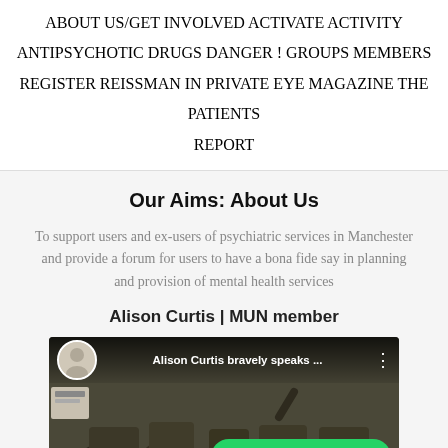ABOUT US/GET INVOLVED  ACTIVATE  ACTIVITY  ANTIPSYCHOTIC DRUGS DANGER !  GROUPS  MEMBERS  REGISTER  REISSMAN IN PRIVATE EYE MAGAZINE  THE PATIENTS REPORT
Our Aims: About Us
To support users and ex-users of psychiatric services in Manchester and provide a forum for users to have a bona fide say in planning and provision of mental health services
Alison Curtis | MUN member
[Figure (screenshot): YouTube video thumbnail showing 'Alison Curtis bravely speaks ...' with avatar and WhatsApp 'How can I help you?' overlay button]